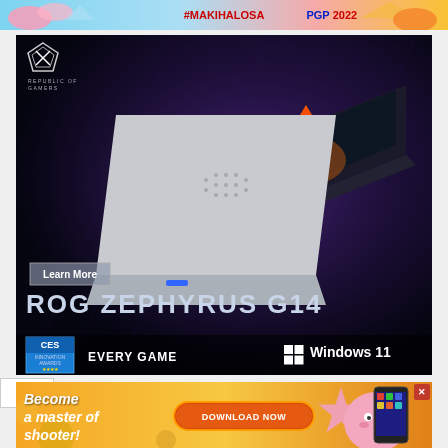[Figure (photo): Top banner with #MAKIHALOSA PGP2022 text in colorful playful style with decorative elements]
[Figure (photo): ASUS ROG Zephyrus G14 gaming laptop advertisement on dark background showing two laptops, ROG logo, Learn More button, CES Innovation Awards badge, Windows 11 logo, and text ROG ZEPHYRUS G14 / EVERY GAME]
[Figure (photo): Mobile game advertisement with orange background, text Become a master of shooter!, DOWNLOAD NOW button in orange pill shape, pink cartoon star character on right side with mobile phone]